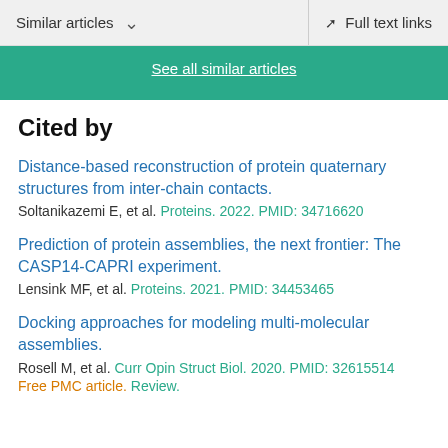Similar articles  ∨   Full text links
See all similar articles
Cited by
Distance-based reconstruction of protein quaternary structures from inter-chain contacts.
Soltanikazemi E, et al. Proteins. 2022. PMID: 34716620
Prediction of protein assemblies, the next frontier: The CASP14-CAPRI experiment.
Lensink MF, et al. Proteins. 2021. PMID: 34453465
Docking approaches for modeling multi-molecular assemblies.
Rosell M, et al. Curr Opin Struct Biol. 2020. PMID: 32615514
Free PMC article. Review.